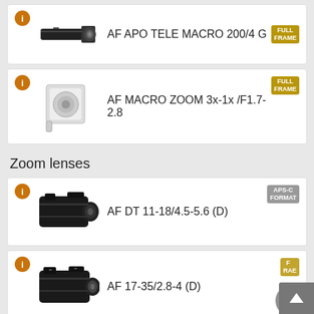AF APO TELE MACRO 200/4 G
AF MACRO ZOOM 3x-1x /F1.7-2.8
Zoom lenses
AF DT 11-18/4.5-5.6 (D)
AF 17-35/2.8-4 (D)
AF 17-35/3.5 G